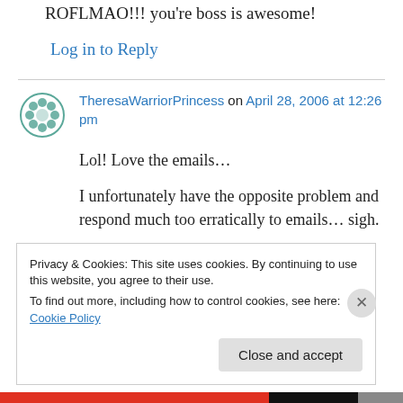ROFLMAO!!! you're boss is awesome!
Log in to Reply
TheresaWarriorPrincess on April 28, 2006 at 12:26 pm
Lol! Love the emails…
I unfortunately have the opposite problem and respond much too erratically to emails… sigh.
Good luck with the exhibition!
Privacy & Cookies: This site uses cookies. By continuing to use this website, you agree to their use.
To find out more, including how to control cookies, see here: Cookie Policy
Close and accept